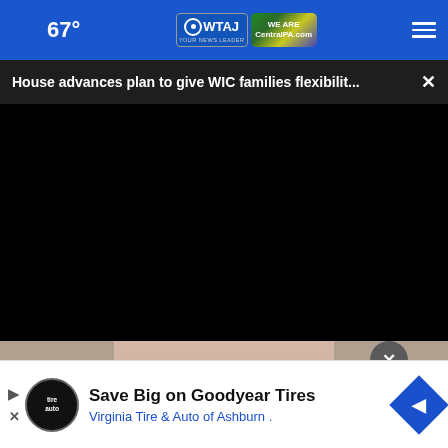67° WTAJ CentralPA.com
House advances plan to give WIC families flexibilit... ×
[Figure (photo): Black video player area with a photo of a person below]
× Save Big on Goodyear Tires Virginia Tire & Auto of Ashburn .